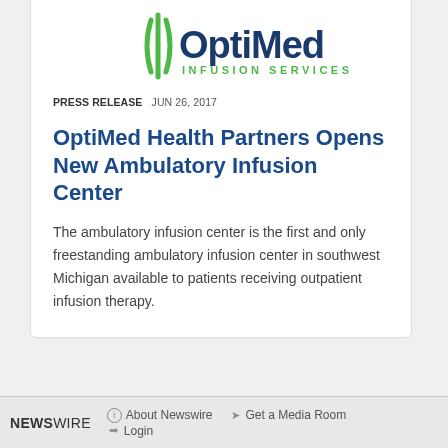[Figure (logo): OptiMed Infusion Services logo — stylized double-arc mark in green above 'OptiMed' in dark blue and 'INFUSION SERVICES' in green]
PRESS RELEASE   JUN 26, 2017
OptiMed Health Partners Opens New Ambulatory Infusion Center
The ambulatory infusion center is the first and only freestanding ambulatory infusion center in southwest Michigan available to patients receiving outpatient infusion therapy.
[Figure (logo): OptiMed figure/person logo mark in blue, green, and grey]
NEWSWIRE   About Newswire   Get a Media Room   Login